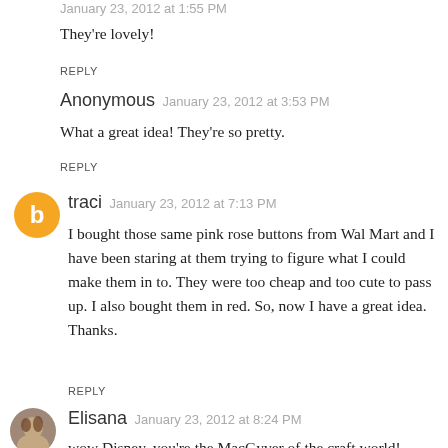January 23, 2012 at 1:55 PM
They're lovely!
REPLY
Anonymous  January 23, 2012 at 3:53 PM
What a great idea! They're so pretty.
REPLY
[Figure (illustration): Orange circle avatar with white Blogger 'b' icon]
traci  January 23, 2012 at 7:13 PM
I bought those same pink rose buttons from Wal Mart and I have been staring at them trying to figure what I could make them in to. They were too cheap and too cute to pass up. I also bought them in red. So, now I have a great idea. Thanks.
REPLY
[Figure (photo): Small circular photo avatar of Elisana]
Elisana  January 23, 2012 at 8:24 PM
wow Disney, you're the MacGyver of the craft world!